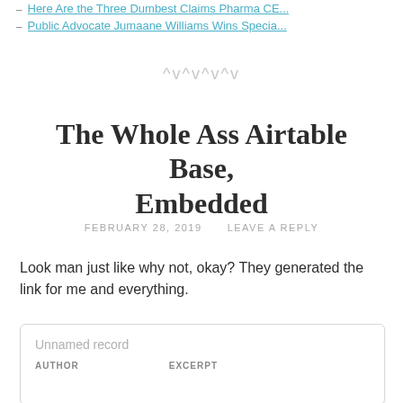Here Are the Three Dumbest Claims Pharma CE...
Public Advocate Jumaane Williams Wins Specia...
[Figure (other): Decorative zigzag divider made of chevron characters: ^v^v^v^v]
The Whole Ass Airtable Base, Embedded
FEBRUARY 28, 2019   LEAVE A REPLY
Look man just like why not, okay? They generated the link for me and everything.
[Figure (screenshot): Embedded Airtable widget showing a record with fields AUTHOR and EXCERPT]